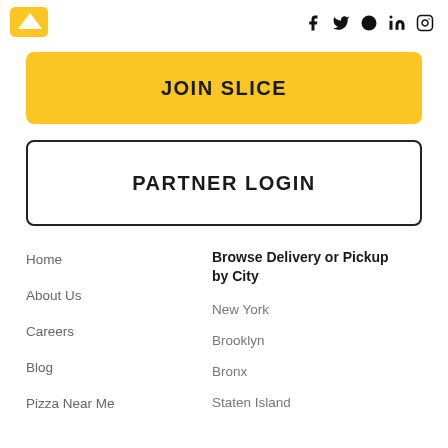[Figure (logo): Slice pizza app logo - yellow arrow/chevron shape]
[Figure (other): Social media icons: Facebook, Twitter, a circular icon, LinkedIn, Instagram]
JOIN SLICE
PARTNER LOGIN
Home
About Us
Careers
Blog
Pizza Near Me
Browse Delivery or Pickup by City
New York
Brooklyn
Bronx
Staten Island